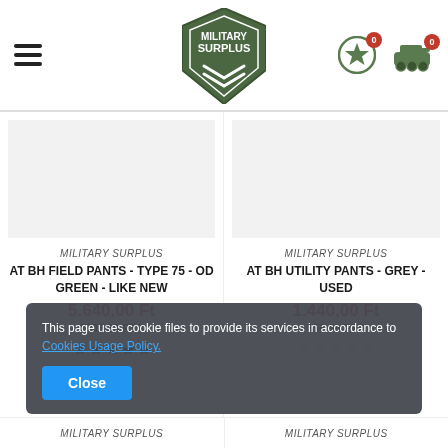Military Surplus - header navigation with logo, hamburger menu, and cart icons
MILITARY SURPLUS
AT BH FIELD PANTS - TYPE 75 - OD GREEN - LIKE NEW
5.640,00 Ft
2308.28 PTS
MILITARY SURPLUS
AT BH UTILITY PANTS - GREY - USED
1.440,00 Ft
656.88 PTS
This page uses cookie files to provide its services in accordance to Cookies Usage Policy.
Close
MILITARY SURPLUS
MILITARY SURPLUS